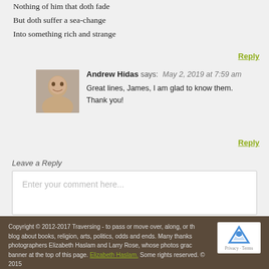Nothing of him that doth fade
But doth suffer a sea-change
Into something rich and strange
Reply
[Figure (photo): Headshot photo of Andrew Hidas, a middle-aged man smiling]
Andrew Hidas says: May 2, 2019 at 7:59 am
Great lines, James, I am glad to know them. Thank you!
Reply
Leave a Reply
Enter your comment here...
Copyright © 2012-2017 Traversing - to pass or move over, along, or th... blog about books, religion, arts, politics, odds and ends. Many thanks... photographers Elizabeth Haslam and Larry Rose, whose photos grac... banner at the top of this page. Elizabeth Haslam. Some rights reserved. © 2015 Larry Rose. All rights reserved.